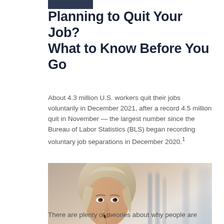Planning to Quit Your Job? What to Know Before You Go
About 4.3 million U.S. workers quit their jobs voluntarily in December 2021, after a record 4.5 million quit in November — the largest number since the Bureau of Labor Statistics (BLS) began recording voluntary job separations in December 2020.¹
[Figure (photo): A blonde woman in professional attire holding a pen to her chin, appearing thoughtful, with a blurred office background]
There are plenty of theories about why people are